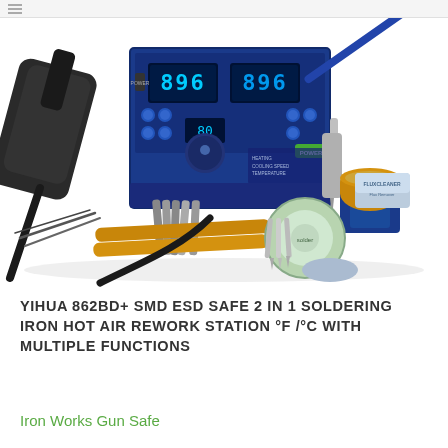[Figure (photo): Product photo of YIHUA 862BD+ SMD ESD Safe 2-in-1 soldering iron hot air rework station. Shows a blue electronic station unit with two LED digital displays showing '896', multiple control buttons and knobs, a hot air gun on the left, a soldering iron on the right in a holder, replacement tips, solder wire spool, flux cleaner tin, brass tip cleaner, tweezers, and golden handle accessories arranged on a white background.]
YIHUA 862BD+ SMD ESD SAFE 2 IN 1 SOLDERING IRON HOT AIR REWORK STATION °F /°C WITH MULTIPLE FUNCTIONS
Iron Works Gun Safe